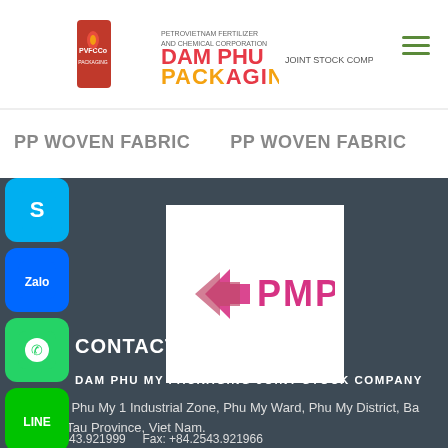Dam Phu My Packaging Joint Stock Company - PVFCCo Packaging
PP WOVEN FABRIC
PP WOVEN FABRIC
[Figure (logo): PMP logo - pink/magenta arrow-like shape with text PMP]
CONTACT US
DAM PHU MY PACKAGING JOINT STOCK COMPANY
1B Street, Phu My 1 Industrial Zone, Phu My Ward, Phu My District, Ba Ria Vung Tau Province, Viet Nam.
Tel: +84.2543.921999    Fax: +84.2543.921966